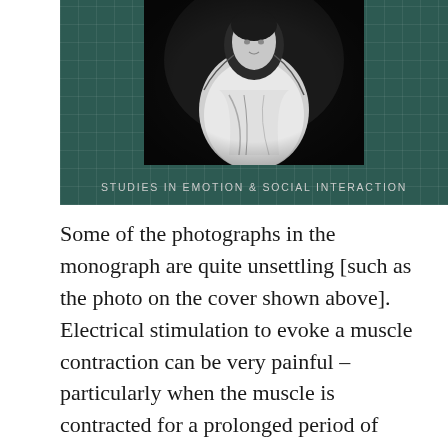[Figure (photo): Book cover with dark teal/green grid background and a black-and-white photograph of a person, with text 'STUDIES IN EMOTION & SOCIAL INTERACTION' at the bottom of the cover.]
Some of the photographs in the monograph are quite unsettling [such as the photo on the cover shown above]. Electrical stimulation to evoke a muscle contraction can be very painful – particularly when the muscle is contracted for a prolonged period of time [necessary for taking a photograph in the early 1860s]. Duchenne experimented on his patients. The most photographed individual [shown above]